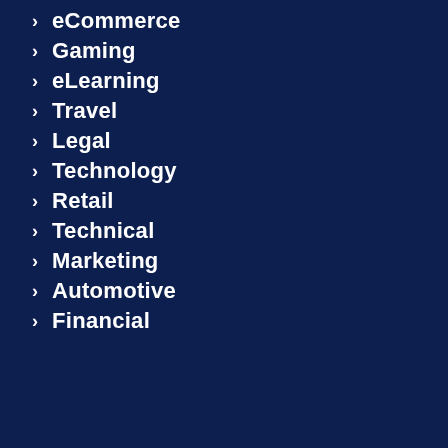eCommerce
Gaming
eLearning
Travel
Legal
Technology
Retail
Technical
Marketing
Automotive
Financial